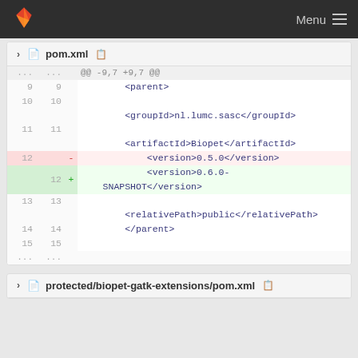Menu
pom.xml
| old | new | sign | code |
| --- | --- | --- | --- |
| ... | ... |  | @@ -9,7 +9,7 @@ |
| 9 | 9 |  |         <parent> |
| 10 | 10 |  |  |
|  |  |  |         <groupId>nl.lumc.sasc</groupId> |
| 11 | 11 |  |  |
|  |  |  |         <artifactId>Biopet</artifactId> |
| 12 |  | - |             <version>0.5.0</version> |
|  | 12 | + |             <version>0.6.0-SNAPSHOT</version> |
| 13 | 13 |  |  |
|  |  |  |         <relativePath>public</relativePath> |
| 14 | 14 |  |         </parent> |
| 15 | 15 |  |  |
| ... | ... |  |  |
protected/biopet-gatk-extensions/pom.xml